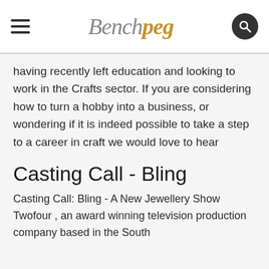Benchpeg
having recently left education and looking to work in the Crafts sector. If you are considering how to turn a hobby into a business, or wondering if it is indeed possible to take a step to a career in craft we would love to hear
Casting Call - Bling
Casting Call: Bling - A New Jewellery Show Twofour , an award winning television production company based in the South West...